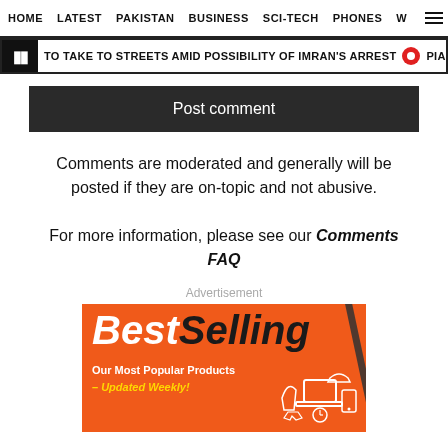HOME  LATEST  PAKISTAN  BUSINESS  SCI-TECH  PHONES  W ☰
TO TAKE TO STREETS AMID POSSIBILITY OF IMRAN'S ARREST  •  PIA CUTS CHINA FA
Post comment
Comments are moderated and generally will be posted if they are on-topic and not abusive.
For more information, please see our Comments FAQ
Advertisement
[Figure (illustration): Best Selling advertisement banner with orange background showing 'BestSelling' text and 'Our Most Popular Products – Updated Weekly!' with product icons]